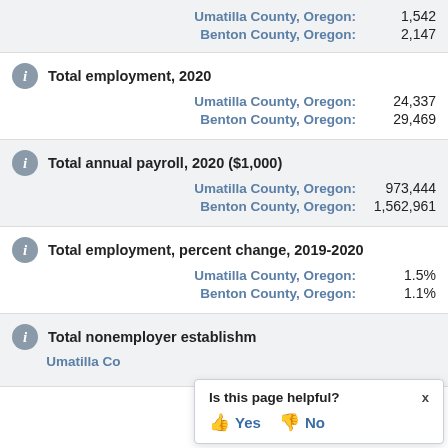Umatilla County, Oregon: 1,542
Benton County, Oregon: 2,147
Total employment, 2020
Umatilla County, Oregon: 24,337
Benton County, Oregon: 29,469
Total annual payroll, 2020 ($1,000)
Umatilla County, Oregon: 973,444
Benton County, Oregon: 1,562,961
Total employment, percent change, 2019-2020
Umatilla County, Oregon: 1.5%
Benton County, Oregon: 1.1%
Total nonemployer establishments
Umatilla County, Oregon: [partially obscured]
Is this page helpful? Yes No